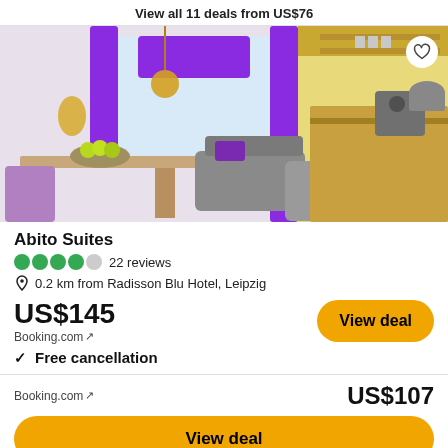View all 11 deals from US$76
[Figure (photo): Hotel room interior with purple curtains, sofa, dining table with fruit bowl, and a kitchen area with yellow cabinets and a coffee machine]
Abito Suites
4 out of 5 circles (TripAdvisor) — 22 reviews
0.2 km from Radisson Blu Hotel, Leipzig
US$145
Booking.com ↗
✓ Free cancellation
Booking.com ↗
US$107
View deal